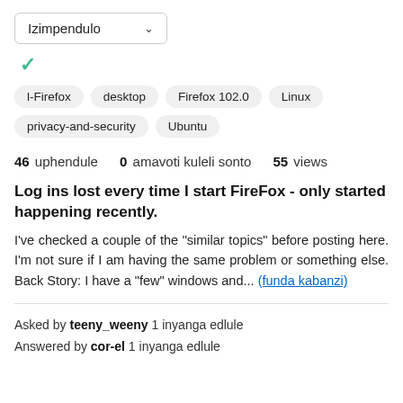[Figure (other): Dropdown selector labeled 'Izimpendulo' with a chevron arrow]
[Figure (other): Green checkmark icon]
l-Firefox
desktop
Firefox 102.0
Linux
privacy-and-security
Ubuntu
46 uphendule  0 amavoti kuleli sonto  55 views
Log ins lost every time I start FireFox - only started happening recently.
I've checked a couple of the "similar topics" before posting here. I'm not sure if I am having the same problem or something else. Back Story: I have a "few" windows and... (funda kabanzi)
Asked by teeny_weeny 1 inyanga edlule
Answered by cor-el 1 inyanga edlule